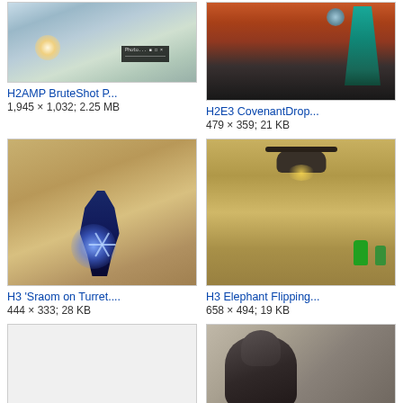[Figure (screenshot): Game screenshot showing icy/snowy terrain with a bright light effect and a HUD overlay element in the lower right area]
H2AMP BruteShot P...
1,945 × 1,032; 2.25 MB
[Figure (screenshot): Game screenshot showing a tall teal/cyan alien structure or dropship against a orange/brown sky]
H2E3 CovenantDrop...
479 × 359; 21 KB
[Figure (screenshot): Game screenshot showing a dark armored alien figure with a blue starburst/energy effect on sandy terrain]
H3 'Sraom on Turret....
444 × 333; 28 KB
[Figure (screenshot): Game screenshot showing a flying vehicle/Hornet above sandy terrain with a green armored figure in the background]
H3 Elephant Flipping...
658 × 494; 19 KB
[Figure (screenshot): Blank white thumbnail placeholder]
[Figure (screenshot): Game screenshot showing a large dark alien figure/Elite in a grey interior setting]